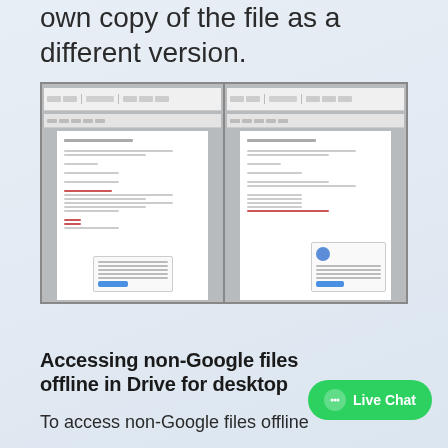own copy of the file as a different version.
[Figure (screenshot): Screenshot showing two side-by-side Microsoft Word document windows. The left panel shows a document with text and a popup dialog at the bottom. The right panel shows another document with a share/collaboration popup in the bottom right corner.]
Accessing non-Google files offline in Drive for desktop
To access non-Google files offline